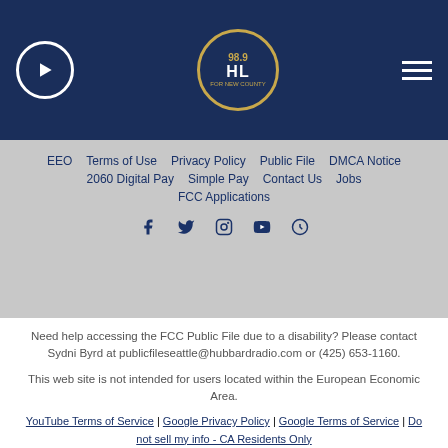[Figure (screenshot): Radio station header banner with play button (circle with triangle), 98.9 KULL station logo in center, and hamburger menu icon on right, all on dark navy background]
EEO  Terms of Use  Privacy Policy  Public File  DMCA Notice  2060 Digital Pay  Simple Pay  Contact Us  Jobs  FCC Applications
[Figure (other): Social media icons row: Facebook, Twitter, Instagram, YouTube, and another icon]
Need help accessing the FCC Public File due to a disability? Please contact Sydni Byrd at publicfileseattle@hubbardradio.com or (425) 653-1160.
This web site is not intended for users located within the European Economic Area.
YouTube Terms of Service | Google Privacy Policy | Google Terms of Service | Do not sell my info - CA Residents Only
© 2022 Hubbard Radio